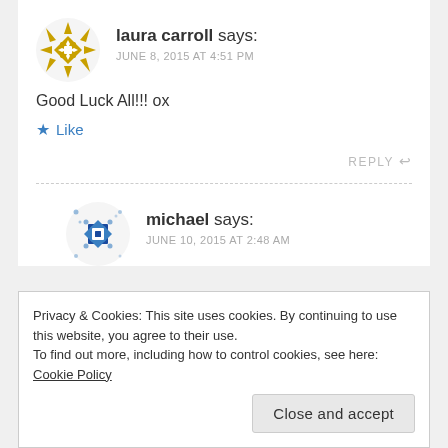laura carroll says:
JUNE 8, 2015 AT 4:51 PM
Good Luck All!!! ox
Like
REPLY
michael says:
JUNE 10, 2015 AT 2:48 AM
Privacy & Cookies: This site uses cookies. By continuing to use this website, you agree to their use.
To find out more, including how to control cookies, see here: Cookie Policy
Close and accept